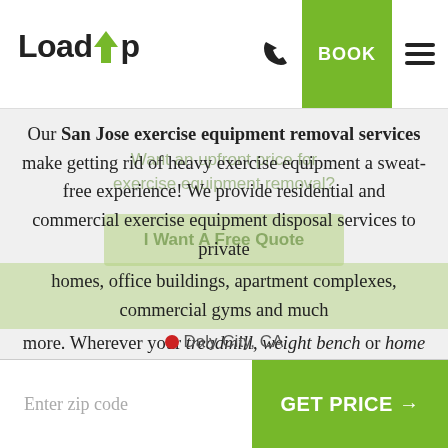[Figure (logo): LoadUp logo with green upward arrow between 'Load' and 'Up' text]
Our San Jose exercise equipment removal services make getting rid of heavy exercise equipment a sweat-free experience! We provide residential and commercial exercise equipment disposal services to private homes, office buildings, apartment complexes, commercial gyms and much more. Wherever your treadmill, weight bench or home gym is, we'll take it. Once we LoadUp your used exercise gear, we strive to drop it off at a recycling or donation center to help the Bay Area stay clean.
Daly City, CA
Enter zip code
GET PRICE →